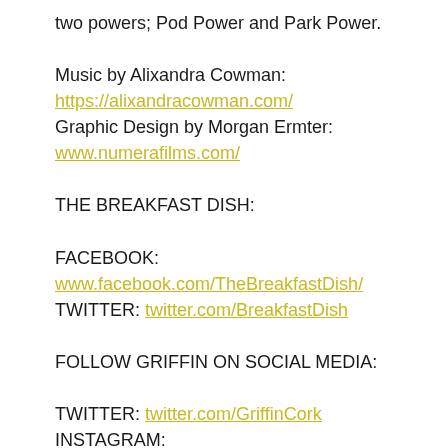two powers; Pod Power and Park Power.
Music by Alixandra Cowman:
https://alixandracowman.com/
Graphic Design by Morgan Ermter:
www.numerafilms.com/
THE BREAKFAST DISH:
FACEBOOK:
www.facebook.com/TheBreakfastDish/
TWITTER: twitter.com/BreakfastDish
FOLLOW GRIFFIN ON SOCIAL MEDIA:
TWITTER: twitter.com/GriffinCork
INSTAGRAM: www.instagram.com/griffincork/